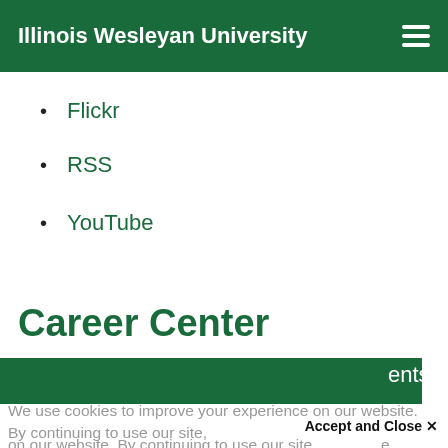Illinois Wesleyan University
Flickr
RSS
YouTube
Career Center
ents
We use cookies to improve your experience on our website. By continuing to use our site, we accept our use of cookies. Accept and Close ×
Your browser settings do not allow cross-site tracking for advertising. Click on this page to allow AdRoll to use cross-site tracking to tailor ads to you. Learn more or opt out of this AdRoll tracking by clicking here. This message only appears once.
preparation